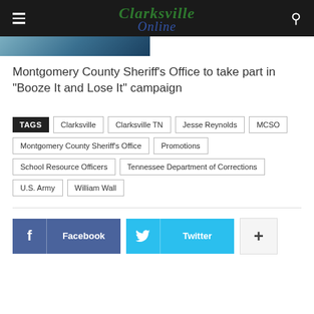Clarksville Online
[Figure (photo): Partial cropped photo visible at top of page]
Montgomery County Sheriff's Office to take part in "Booze It and Lose It" campaign
TAGS: Clarksville, Clarksville TN, Jesse Reynolds, MCSO, Montgomery County Sheriff's Office, Promotions, School Resource Officers, Tennessee Department of Corrections, U.S. Army, William Wall